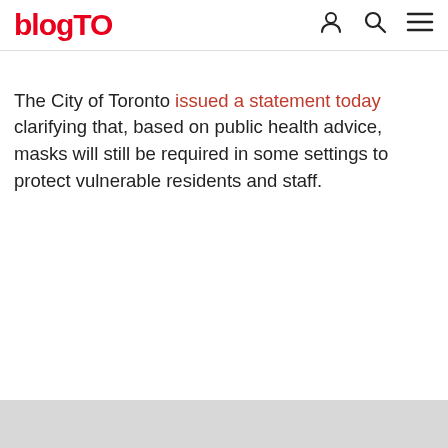blogTO
The City of Toronto issued a statement today clarifying that, based on public health advice, masks will still be required in some settings to protect vulnerable residents and staff.